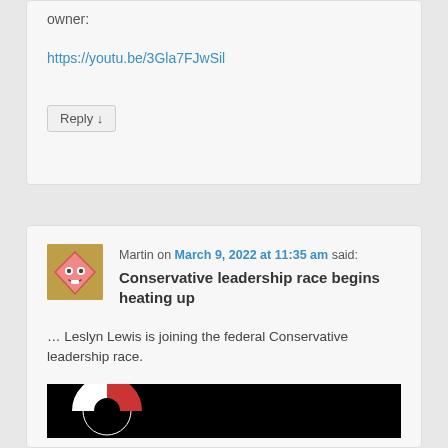owner:
https://youtu.be/3Gla7FJwSil
Reply ↓
Martin on March 9, 2022 at 11:35 am said:
Conservative leadership race begins heating up
... Leslyn Lewis is joining the federal Conservative leadership race.
[Figure (photo): Video thumbnail with black background and partial circular graphic]